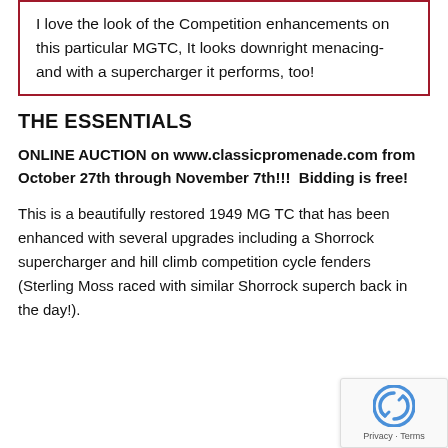I love the look of the Competition enhancements on this particular MGTC, It looks downright menacing- and with a supercharger it performs, too!
THE ESSENTIALS
ONLINE AUCTION on www.classicpromenade.com from October 27th through November 7th!!!  Bidding is free!
This is a beautifully restored 1949 MG TC that has been enhanced with several upgrades including a Shorrock supercharger and hill climb competition cycle fenders (Sterling Moss raced with similar Shorrock superch back in the day!).